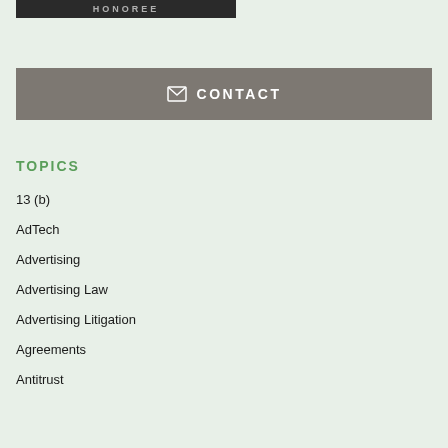[Figure (other): Honoree badge/banner with dark background and 'HONOREE' text]
CONTACT
TOPICS
13 (b)
AdTech
Advertising
Advertising Law
Advertising Litigation
Agreements
Antitrust